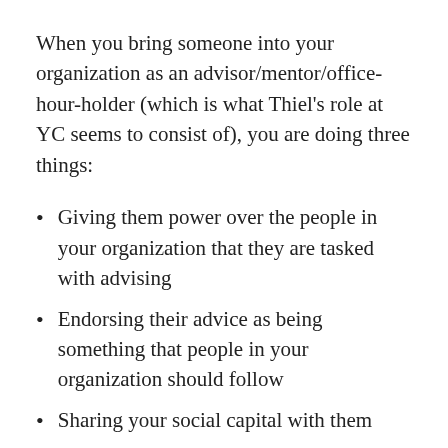When you bring someone into your organization as an advisor/mentor/office-hour-holder (which is what Thiel's role at YC seems to consist of), you are doing three things:
Giving them power over the people in your organization that they are tasked with advising
Endorsing their advice as being something that people in your organization should follow
Sharing your social capital with them